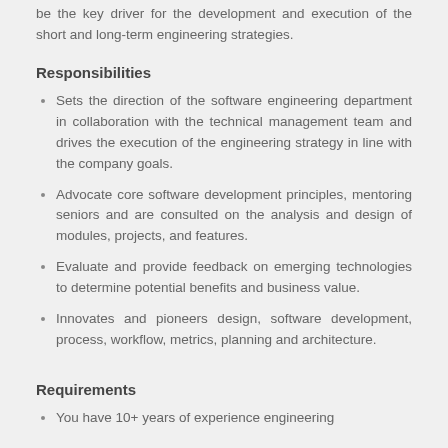be the key driver for the development and execution of the short and long-term engineering strategies.
Responsibilities
Sets the direction of the software engineering department in collaboration with the technical management team and drives the execution of the engineering strategy in line with the company goals.
Advocate core software development principles, mentoring seniors and are consulted on the analysis and design of modules, projects, and features.
Evaluate and provide feedback on emerging technologies to determine potential benefits and business value.
Innovates and pioneers design, software development, process, workflow, metrics, planning and architecture.
Requirements
You have 10+ years of experience engineering